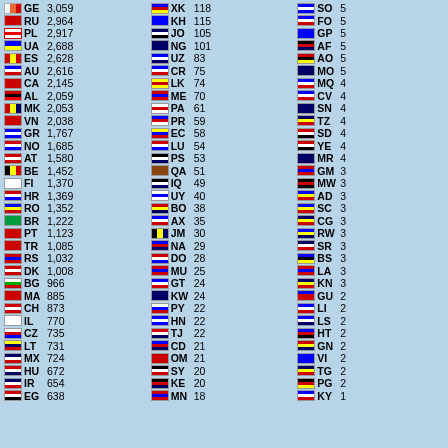| Flag | Code | Count | Flag | Code | Count | Flag | Code | Count |
| --- | --- | --- | --- | --- | --- | --- | --- | --- |
| GE | 3,059 | XK | 118 | SO | 5 |
| RU | 2,964 | KH | 115 | FO | 5 |
| PL | 2,917 | JO | 105 | GP | 5 |
| UA | 2,688 | NG | 101 | AF | 5 |
| ES | 2,628 | UZ | 83 | AO | 5 |
| AU | 2,616 | CR | 75 | MO | 5 |
| CA | 2,145 | LK | 74 | MQ | 4 |
| AL | 2,059 | ME | 70 | CV | 4 |
| MK | 2,053 | PA | 61 | SN | 4 |
| VN | 2,038 | PR | 59 | TZ | 4 |
| GR | 1,767 | EC | 58 | SD | 4 |
| NO | 1,685 | LU | 54 | YE | 4 |
| AT | 1,580 | PS | 53 | MR | 4 |
| BE | 1,452 | QA | 51 | GM | 3 |
| FI | 1,370 | IQ | 49 | MW | 3 |
| HR | 1,369 | UY | 40 | AD | 3 |
| RO | 1,352 | BO | 38 | SC | 3 |
| BR | 1,222 | AX | 35 | CG | 3 |
| PT | 1,123 | JM | 30 | RW | 3 |
| TR | 1,085 | NA | 29 | SR | 3 |
| RS | 1,032 | DO | 28 | BS | 3 |
| DK | 1,008 | MU | 25 | LA | 3 |
| BG | 966 | GT | 24 | KN | 3 |
| MA | 885 | KW | 24 | GU | 2 |
| CH | 873 | PY | 22 | LI | 2 |
| IL | 770 | HN | 22 | LS | 2 |
| CZ | 735 | TJ | 22 | HT | 2 |
| LT | 731 | CD | 21 | GN | 2 |
| MX | 724 | OM | 21 | VI | 2 |
| HU | 672 | SY | 20 | TG | 2 |
| IR | 654 | KE | 20 | PG | 2 |
| EG | 638 | MN | 18 | KY | 1 |